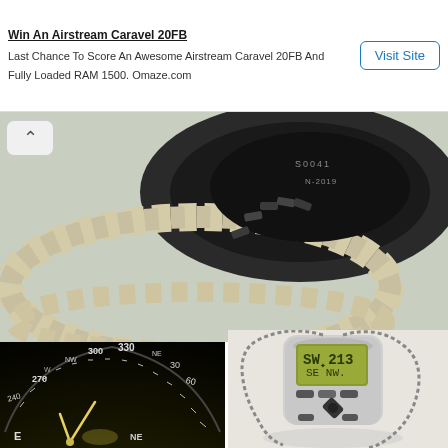[Figure (screenshot): Advertisement banner: Win An Airstream Caravel 20FB with Visit Site button. Text: Last Chance To Score An Awesome Airstream Caravel 20FB And Fully Loaded RAM 1500. Omaze.com]
[Figure (photo): Close-up photo of a nautical compass surrounded by a white rope, showing compass markings and numbers like N-2019]
[Figure (photo): Close-up photo of an analog compass dial showing degree markings 240, 270 (W), NW, 300, 330, NE, 30 (E), 60 (E), with illuminated needles on dark background]
[Figure (photo): Photo of a digital handheld compass device with LCD display showing SW 213 and SE NW, with lanyard cord on white background]